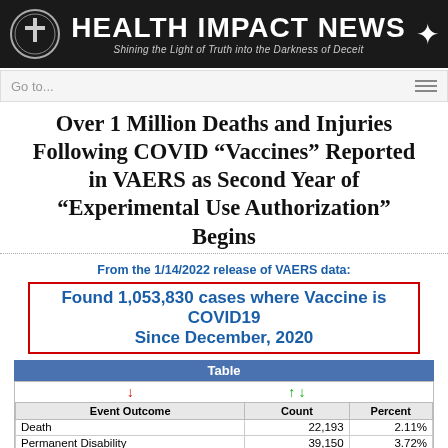[Figure (logo): Health Impact News banner with circular logo on left, star on right, subtitle: Shining the Light of Truth into the Darkness of Deceit]
Go to...
Over 1 Million Deaths and Injuries Following COVID “Vaccines” Reported in VAERS as Second Year of “Experimental Use Authorization” Begins
From the 1/14/2022 release of VAERS data:
Found 1,053,830 cases where Vaccine is COVID19
Since December, 2020
| Event Outcome | Count | Percent |
| --- | --- | --- |
| Death | 22,193 | 2.11% |
| Permanent Disability | 39,150 | 3.72% |
| Office Visit | 164,278 | 15.59% |
| Emergency Room | 90 | 0.01% |
| Emergency Doctor/Room | 113,730 | 10.70% |